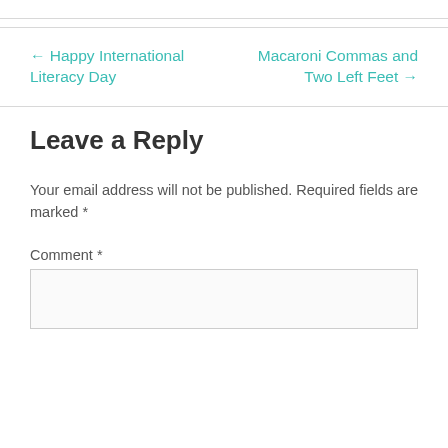← Happy International Literacy Day
Macaroni Commas and Two Left Feet →
Leave a Reply
Your email address will not be published. Required fields are marked *
Comment *